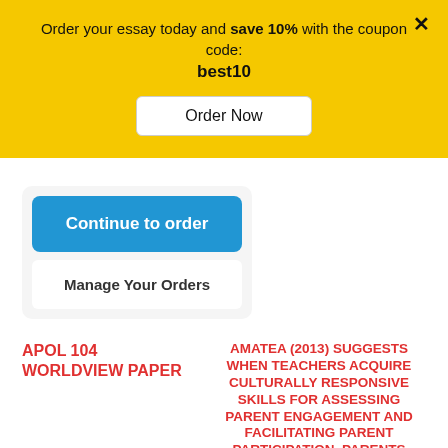Order your essay today and save 10% with the coupon code: best10
Order Now
Continue to order
Manage Your Orders
APOL 104 WORLDVIEW PAPER
AMATEA (2013) SUGGESTS WHEN TEACHERS ACQUIRE CULTURALLY RESPONSIVE SKILLS FOR ASSESSING PARENT ENGAGEMENT AND FACILITATING PARENT PARTICIPATION, PARENTS